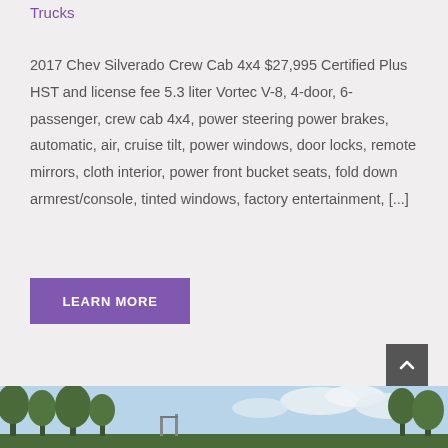Trucks
2017 Chev Silverado Crew Cab 4x4 $27,995 Certified Plus HST and license fee 5.3 liter Vortec V-8, 4-door, 6-passenger, crew cab 4x4, power steering power brakes, automatic, air, cruise tilt, power windows, door locks, remote mirrors, cloth interior, power front bucket seats, fold down armrest/console, tinted windows, factory entertainment, [...]
LEARN MORE
[Figure (photo): Outdoor scene with trees and sky, partial view of a building or structure]